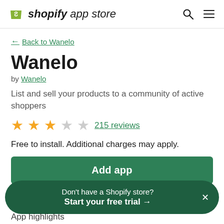shopify app store
← Back to Wanelo
Wanelo
by Wanelo
List and sell your products to a community of active shoppers
★★★☆☆ 215 reviews
Free to install. Additional charges may apply.
Add app
Don't have a Shopify store? Start your free trial →
App highlights